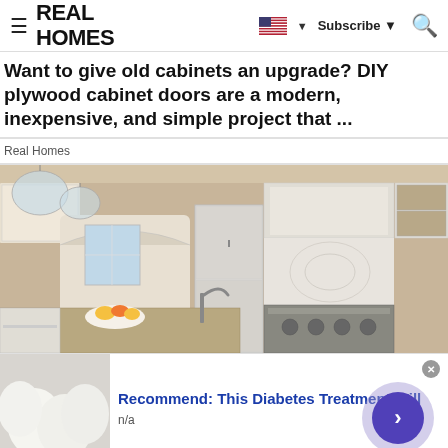Real Homes
Want to give old cabinets an upgrade? DIY plywood cabinet doors are a modern, inexpensive, and simple project that ...
Real Homes
[Figure (photo): Bright white kitchen interior with large island, granite countertops, stainless steel appliances, and decorative glass pendant lights]
[Figure (infographic): Advertisement: Recommend: This Diabetes Treatment Will — n/a, with egg image thumbnail and purple arrow button]